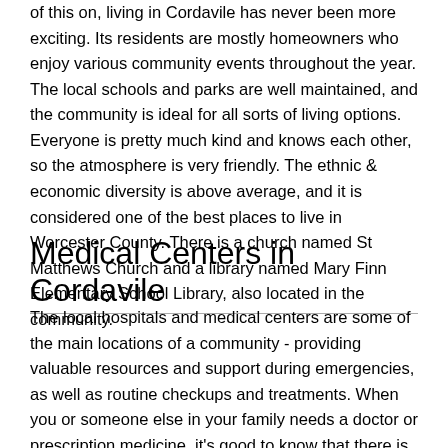of this on, living in Cordavile has never been more exciting. Its residents are mostly homeowners who enjoy various community events throughout the year. The local schools and parks are well maintained, and the community is ideal for all sorts of living options. Everyone is pretty much kind and knows each other, so the atmosphere is very friendly. The ethnic & economic diversity is above average, and it is considered one of the best places to live in Worcester County. There is a church named St Matthews Church and a library named Mary Finn Elementary School Library, also located in the community.
Medical Centers in Cordavile
The local hospitals and medical centers are some of the main locations of a community - providing valuable resources and support during emergencies, as well as routine checkups and treatments. When you or someone else in your family needs a doctor or prescription medicine, it's good to know that there is a medical center in your area that can provide these services. Fortunately, there are plenty of them in Cordavile and its nearby areas. Some of